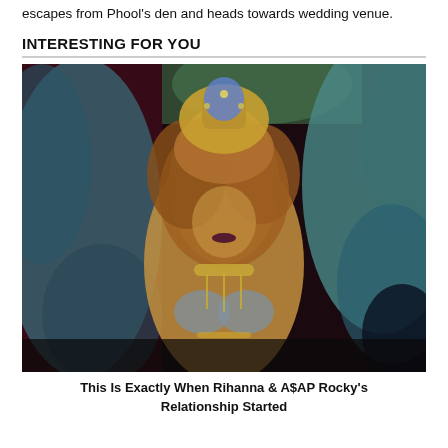escapes from Phool's den and heads towards wedding venue.
INTERESTING FOR YOU
[Figure (photo): A woman in an elaborate carnival costume with large teal/blue feathered wings, jeweled headdress, and ornate bejeweled top. She has long curly auburn hair and dark lipstick, posing in front of greenery.]
This Is Exactly When Rihanna & A$AP Rocky's Relationship Started